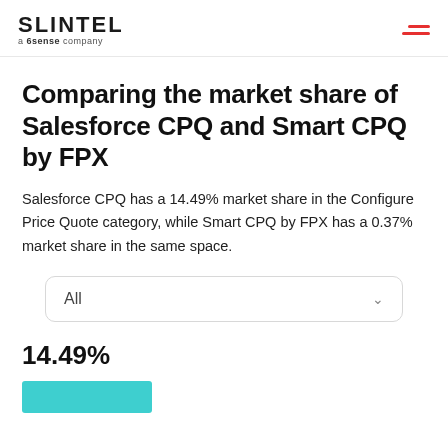SLINTEL a 6sense company
Comparing the market share of Salesforce CPQ and Smart CPQ by FPX
Salesforce CPQ has a 14.49% market share in the Configure Price Quote category, while Smart CPQ by FPX has a 0.37% market share in the same space.
[Figure (other): Dropdown selector showing 'All' with chevron]
14.49%
[Figure (bar-chart): Partial teal/cyan bar visible at bottom of page representing 14.49% market share]